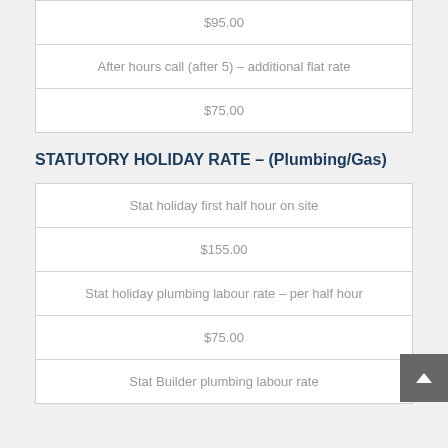| $95.00 |
| After hours call (after 5) – additional flat rate |
| $75.00 |
STATUTORY HOLIDAY RATE – (Plumbing/Gas)
| Stat holiday first half hour on site |
| $155.00 |
| Stat holiday plumbing labour rate – per half hour |
| $75.00 |
| Stat Builder plumbing labour rate |